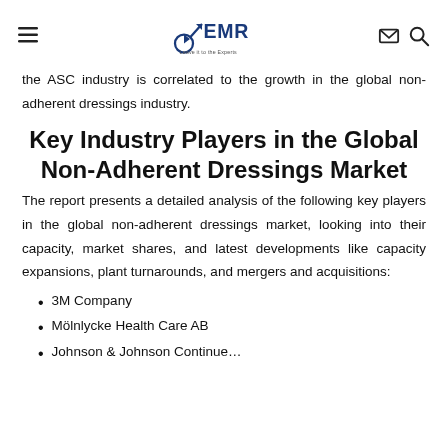EMR — Leave it to the Experts
the ASC industry is correlated to the growth in the global non-adherent dressings industry.
Key Industry Players in the Global Non-Adherent Dressings Market
The report presents a detailed analysis of the following key players in the global non-adherent dressings market, looking into their capacity, market shares, and latest developments like capacity expansions, plant turnarounds, and mergers and acquisitions:
3M Company
Mölnlycke Health Care AB
Johnson & Johnson Continue…